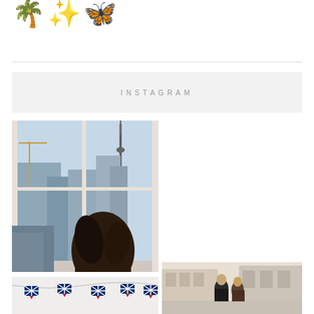[Figure (illustration): Three emoji: palm tree, gold sparkles/stars, blue morpho butterfly]
INSTAGRAM
[Figure (photo): Person with long dark hair seen from behind, looking out large windows at a city skyline including the CN Tower in Toronto, with construction cranes and buildings visible]
[Figure (photo): Bunting of UK Union Jack flags hanging in a row against a light background]
[Figure (photo): Two people on a city street with classical stone buildings in the background]